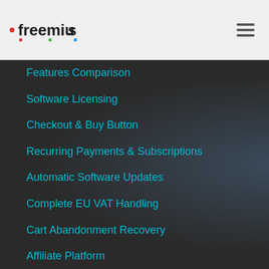[Figure (logo): Freemius logo with colored dots]
Features Comparison
Software Licensing
Checkout & Buy Button
Recurring Payments & Subscriptions
Automatic Software Updates
Complete EU VAT Handling
Cart Abandonment Recovery
Affiliate Platform
Analytics & Usage Tracking
User Dashboard
Product